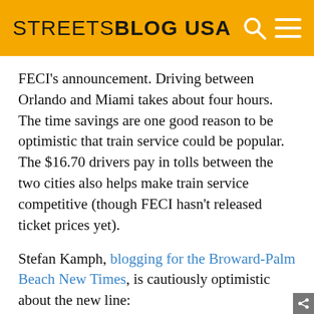STREETSBLOG USA
FECI's announcement. Driving between Orlando and Miami takes about four hours. The time savings are one good reason to be optimistic that train service could be popular. The $16.70 drivers pay in tolls between the two cities also helps make train service competitive (though FECI hasn't released ticket prices yet).
Stefan Kamph, blogging for the Broward-Palm Beach New Times, is cautiously optimistic about the new line:
Well, that sounds fantastic. We're sure the grandmas and Germans at Disney World might be tempted to pop down to South Beach for an extra